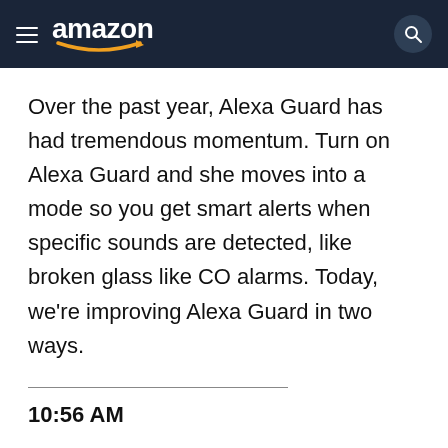amazon
Over the past year, Alexa Guard has had tremendous momentum. Turn on Alexa Guard and she moves into a mode so you get smart alerts when specific sounds are detected, like broken glass like CO alarms. Today, we’re improving Alexa Guard in two ways.
10:56 AM
The feature will be available starting on Ring